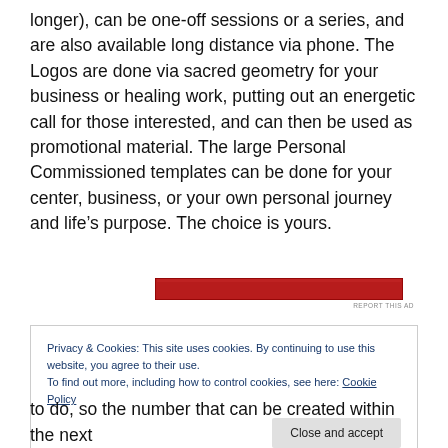longer), can be one-off sessions or a series, and are also available long distance via phone. The Logos are done via sacred geometry for your business or healing work, putting out an energetic call for those interested, and can then be used as promotional material. The large Personal Commissioned templates can be done for your center, business, or your own personal journey and life's purpose. The choice is yours.
[Figure (other): Red advertisement banner with 'REPORT THIS AD' text below]
Privacy & Cookies: This site uses cookies. By continuing to use this website, you agree to their use.
To find out more, including how to control cookies, see here: Cookie Policy
Close and accept
to do, so the number that can be created within the next